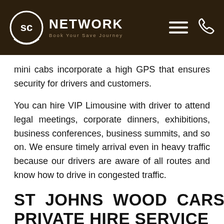SC NETWORK Book Your Save Journey
mini cabs incorporate a high GPS that ensures security for drivers and customers.
You can hire VIP Limousine with driver to attend legal meetings, corporate dinners, exhibitions, business conferences, business summits, and so on. We ensure timely arrival even in heavy traffic because our drivers are aware of all routes and know how to drive in congested traffic.
ST JOHNS WOOD CARS PRIVATE HIRE SERVICE